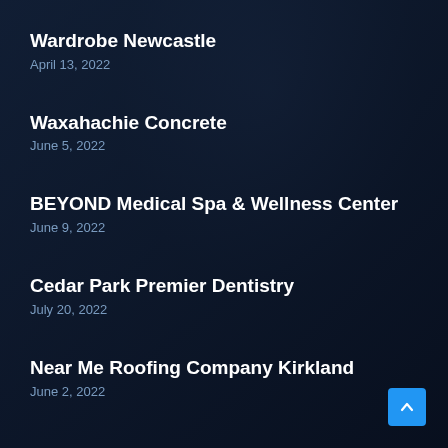Wardrobe Newcastle
April 13, 2022
Waxahachie Concrete
June 5, 2022
BEYOND Medical Spa & Wellness Center
June 9, 2022
Cedar Park Premier Dentistry
July 20, 2022
Near Me Roofing Company Kirkland
June 2, 2022